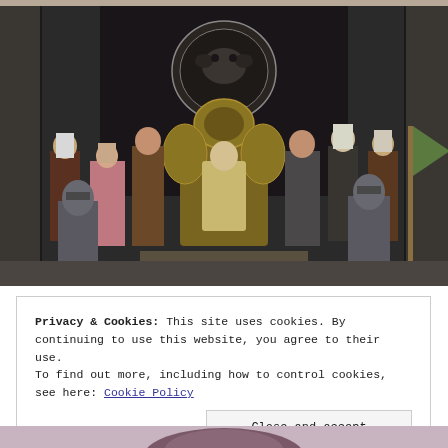[Figure (photo): A group of characters in medieval fantasy costumes standing in a throne room with stone walls. A figure sits on an ornate golden throne in the center, flanked by standing courtiers. A large dragon sigil medallion is mounted on a dark curtain backdrop above them. Guards in armor stand at the sides.]
Privacy & Cookies: This site uses cookies. By continuing to use this website, you agree to their use.
To find out more, including how to control cookies, see here: Cookie Policy
[Figure (photo): Partial bottom strip showing the top of a person's head with curly or styled hair, against a light purple/mauve background.]